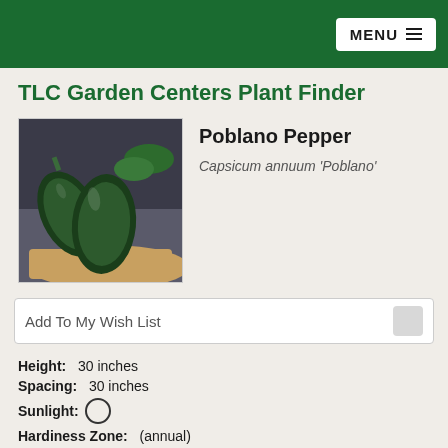MENU
TLC Garden Centers Plant Finder
[Figure (photo): Photo of dark green Poblano peppers resting on a wooden cutting board against a dark background with greenery visible]
Poblano Pepper
Capsicum annuum 'Poblano'
Add To My Wish List
Height:  30 inches
Spacing:  30 inches
Sunlight:  [sun icon]
Hardiness Zone:  (annual)
Description:
A wonderful variety perfect for containers or gardens; produces 4" long